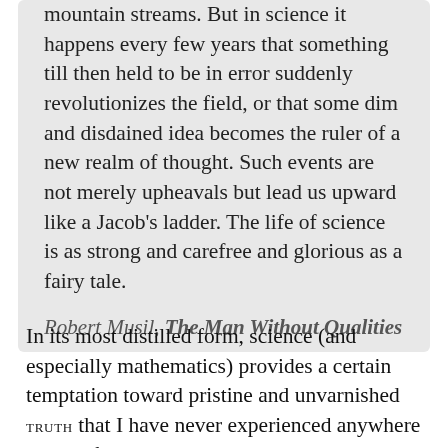mountain streams. But in science it happens every few years that something till then held to be in error suddenly revolutionizes the field, or that some dim and disdained idea becomes the ruler of a new realm of thought. Such events are not merely upheavals but lead us upward like a Jacob's ladder. The life of science is as strong and carefree and glorious as a fairy tale.
Robert Musil, The Man Without Qualities
In its most distilled form, science (and especially mathematics) provides a certain temptation toward pristine and unvarnished TRUTH that I have never experienced anywhere else–unfortunately, some have taken this to mean that science provides the complete